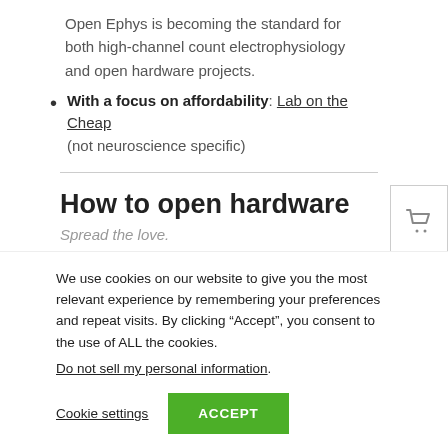Open Ephys is becoming the standard for both high-channel count electrophysiology and open hardware projects.
With a focus on affordability: Lab on the Cheap (not neuroscience specific)
How to open hardware
Spread the love.
We use cookies on our website to give you the most relevant experience by remembering your preferences and repeat visits. By clicking “Accept”, you consent to the use of ALL the cookies.
Do not sell my personal information.
Cookie settings   ACCEPT